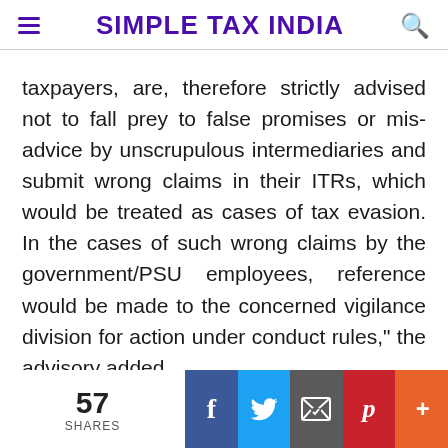SIMPLE TAX INDIA
taxpayers, are, therefore strictly advised not to fall prey to false promises or mis-advice by unscrupulous intermediaries and submit wrong claims in their ITRs, which would be treated as cases of tax evasion. In the cases of such wrong claims by the government/PSU employees, reference would be made to the concerned vigilance division for action under conduct rules," the advisory added.
57 SHARES